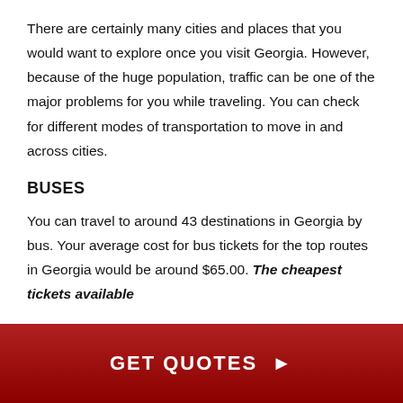There are certainly many cities and places that you would want to explore once you visit Georgia. However, because of the huge population, traffic can be one of the major problems for you while traveling. You can check for different modes of transportation to move in and across cities.
BUSES
You can travel to around 43 destinations in Georgia by bus. Your average cost for bus tickets for the top routes in Georgia would be around $65.00. The cheapest tickets available
GET QUOTES ▶